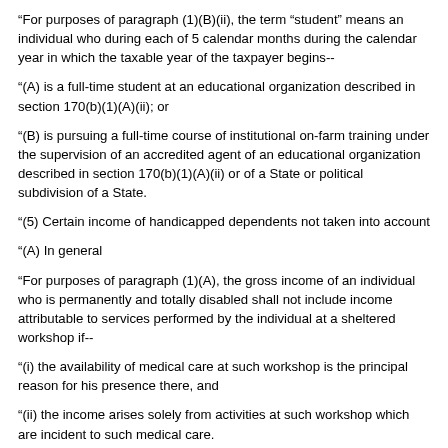“For purposes of paragraph (1)(B)(ii), the term “student” means an individual who during each of 5 calendar months during the calendar year in which the taxable year of the taxpayer begins--
“(A) is a full-time student at an educational organization described in section 170(b)(1)(A)(ii); or
“(B) is pursuing a full-time course of institutional on-farm training under the supervision of an accredited agent of an educational organization described in section 170(b)(1)(A)(ii) or of a State or political subdivision of a State.
“(5) Certain income of handicapped dependents not taken into account
“(A) In general
“For purposes of paragraph (1)(A), the gross income of an individual who is permanently and totally disabled shall not include income attributable to services performed by the individual at a sheltered workshop if--
“(i) the availability of medical care at such workshop is the principal reason for his presence there, and
“(ii) the income arises solely from activities at such workshop which are incident to such medical care.
“(B) Sheltered workshop defined